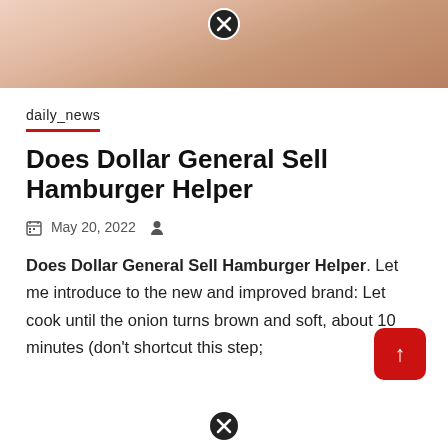[Figure (photo): Partial photo of a person's body/skin, shown at the top of the page, cropped]
daily_news
Does Dollar General Sell Hamburger Helper
May 20, 2022
Does Dollar General Sell Hamburger Helper. Let me introduce to the new and improved brand: Let cook until the onion turns brown and soft, about 10 minutes (don't shortcut this step;